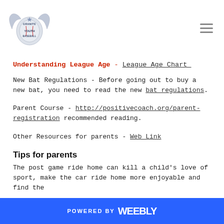[Logo: Granite Youth Baseball] [hamburger menu icon]
Understanding League Age - League Age Chart
New Bat Regulations - Before going out to buy a new bat, you need to read the new bat regulations.
Parent Course - http://positivecoach.org/parent-registration recommended reading.
Other Resources for parents - Web Link
Tips for parents
The post game ride home can kill a child's love of sport, make the car ride home more enjoyable and find the
POWERED BY weebly